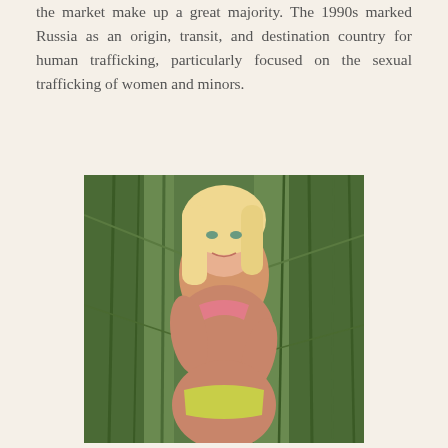the market make up a great majority. The 1990s marked Russia as an origin, transit, and destination country for human trafficking, particularly focused on the sexual trafficking of women and minors.
[Figure (photo): A young blonde woman in a bikini posing outdoors among tall green reeds/grass plants.]